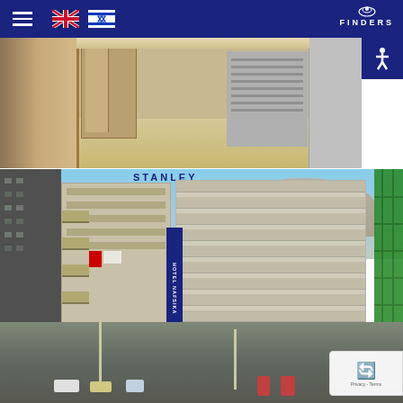Finders - Navigation bar with hamburger menu, UK flag, Israel flag, and Finders logo
[Figure (photo): Hotel lobby interior with marble floor, elevator doors, and ventilation grill]
[Figure (photo): Aerial street view showing Hotel Stanley sign, Hotel Nafsika vertical sign, modern multi-story buildings, green scaffolding on right, mountains in background, and street traffic below]